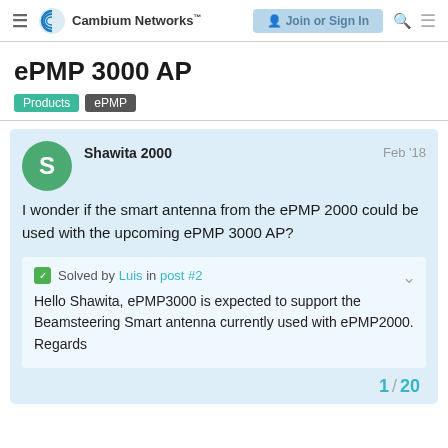Cambium Networks — Join or Sign In
ePMP 3000 AP
Products  ePMP
I wonder if the smart antenna from the ePMP 2000 could be used with the upcoming ePMP 3000 AP?
Solved by Luis in post #2

Hello Shawita, ePMP3000 is expected to support the Beamsteering Smart antenna currently used with ePMP2000. Regards
1 / 20